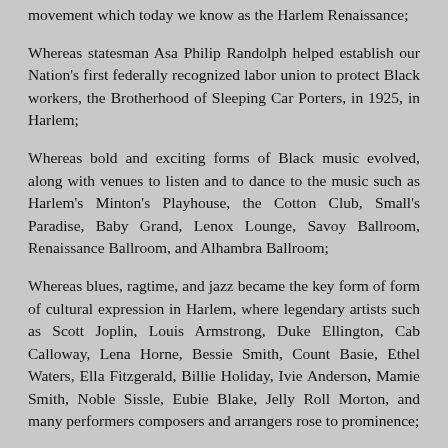movement which today we know as the Harlem Renaissance;
Whereas statesman Asa Philip Randolph helped establish our Nation's first federally recognized labor union to protect Black workers, the Brotherhood of Sleeping Car Porters, in 1925, in Harlem;
Whereas bold and exciting forms of Black music evolved, along with venues to listen and to dance to the music such as Harlem's Minton's Playhouse, the Cotton Club, Small's Paradise, Baby Grand, Lenox Lounge, Savoy Ballroom, Renaissance Ballroom, and Alhambra Ballroom;
Whereas blues, ragtime, and jazz became the key form of form of cultural expression in Harlem, where legendary artists such as Scott Joplin, Louis Armstrong, Duke Ellington, Cab Calloway, Lena Horne, Bessie Smith, Count Basie, Ethel Waters, Ella Fitzgerald, Billie Holiday, Ivie Anderson, Mamie Smith, Noble Sissle, Eubie Blake, Jelly Roll Morton, and many performers composers and arrangers rose to prominence;